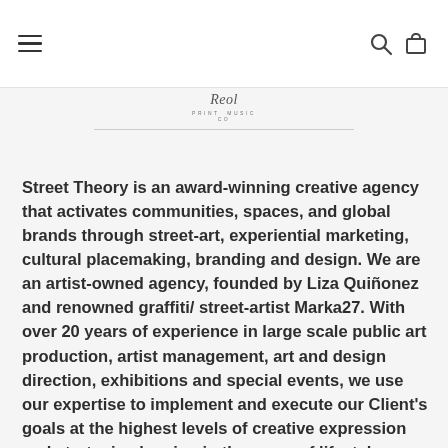☰ [search] [cart]
[Figure (logo): Script/cursive logo text reading 'Reol' with subtitle text below, followed by a horizontal rule]
Street Theory is an award-winning creative agency that activates communities, spaces, and global brands through street-art, experiential marketing, cultural placemaking, branding and design. We are an artist-owned agency, founded by Liza Quiñonez and renowned graffiti/ street-artist Marka27. With over 20 years of experience in large scale public art production, artist management, art and design direction, exhibitions and special events, we use our expertise to implement and execute our Client's goals at the highest levels of creative expression and strategic planning in the areas of lifestyle, hospitality, retail, real estate, urban planning and community...